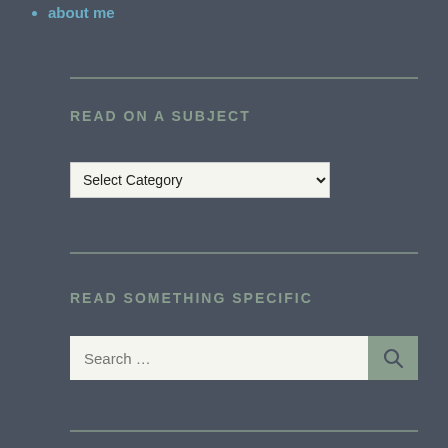about me
READ ON A SUBJECT
[Figure (other): Select Category dropdown widget]
READ SOMETHING SPECIFIC
[Figure (other): Search input field with search button icon]